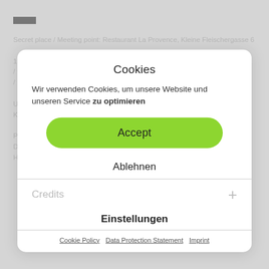[Figure (other): Black rectangular logo/icon bar at top of background page]
Secret place / Meeting point: Restaurant La Provence, Kleine Fleischergasse 6
10,00 € (keine Erm.)
/ for 1 spectator each à 15 minutes
/ Karten nur an der Festivalkasse
Uraufführung 23.05.2013, Festival RIAD, Dunkerque
Kontakt: www.madmoisellemch.com
Produktion: MadMoiselle MCH association, Genf
Das Gastspiel in Leipzig erfolgt mit freundlicher Unterstützung durch Pro Helvetia, Schweizer Kulturstiftung, Zürich.
Cookies
Wir verwenden Cookies, um unsere Website und unseren Service zu optimieren
Accept
Ablehnen
Credits
Einstellungen
Cookie Policy   Data Protection Statement   Imprint